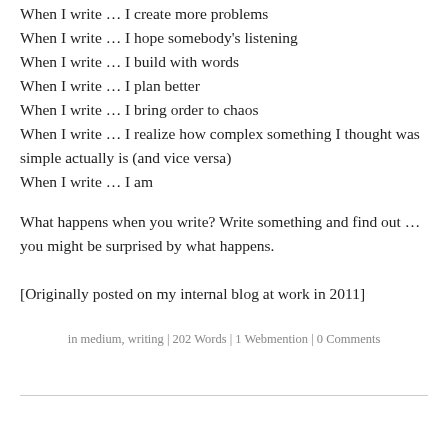When I write … I create more problems
When I write … I hope somebody's listening
When I write … I build with words
When I write … I plan better
When I write … I bring order to chaos
When I write … I realize how complex something I thought was simple actually is (and vice versa)
When I write … I am
What happens when you write? Write something and find out … you might be surprised by what happens.
[Originally posted on my internal blog at work in 2011]
in medium, writing | 202 Words | 1 Webmention | 0 Comments